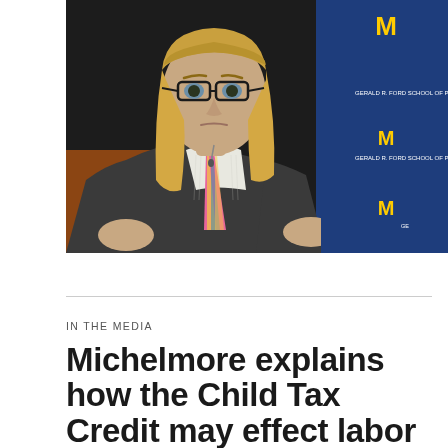[Figure (photo): A man with long blonde hair and glasses wearing a grey suit and pink striped tie, speaking at what appears to be a Ford School of Public Policy event at the University of Michigan. He is gesturing with his hands, seated in front of a blue banner with 'Gerald R. Ford School of Public Policy' and University of Michigan logos.]
IN THE MEDIA
Michelmore explains how the Child Tax Credit may effect labor force participation